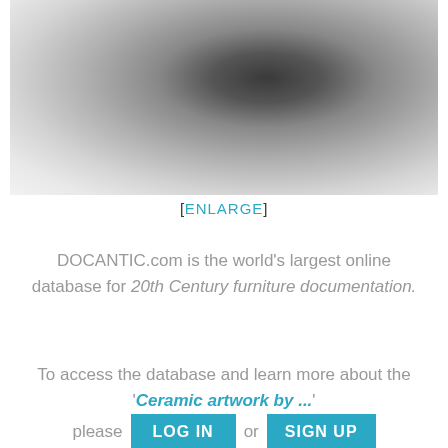[Figure (photo): Blurred grayscale image of a ceramic artwork, dark gradients at top transitioning to lighter tones at bottom]
[ENLARGE]
DOCANTIC.com is the world's largest online database for 20th Century furniture documentation.
To access the database and learn more about the 'Ceramic artwork by ...' please LOG IN or SIGN UP